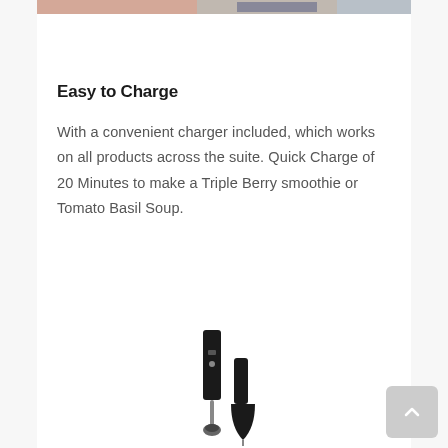[Figure (photo): Partial top edge of a photo showing a person using a kitchen blender or immersion blender product, cropped at the top of the page.]
Easy to Charge
With a convenient charger included, which works on all products across the suite. Quick Charge of 20 Minutes to make a Triple Berry smoothie or Tomato Basil Soup.
[Figure (photo): Product image showing a black immersion blender and a separate blending attachment/wand, displayed against a white background at the bottom of the page.]